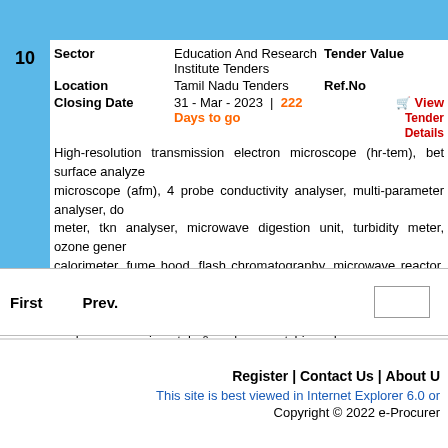| # | Field | Value | Right |
| --- | --- | --- | --- |
| 10 | Sector | Education And Research Institute Tenders | Tender Value |
|  | Location | Tamil Nadu Tenders | Ref.No |
|  | Closing Date | 31 - Mar - 2023  |  222 Days to go | View / Tender Details |
High-resolution transmission electron microscope (hr-tem), bet surface analyzer, microscope (afm), 4 probe conductivity analyser, multi-parameter analyser, do meter, tkn analyser, microwave digestion unit, turbidity meter, ozone generator, calorimeter, fume hood, flash chromatography, microwave reactor, glove box system, bsl2 / bsl3 cabinets, counter molding machine, contact mulling machine, analyzer, experimental & colour matching drum, compressor, polarimeter, sammying machine, hydraulic shaving machine, over head convenyor, vibration mower, projector, four point probe meter, tam iii embedded computer for micro pcr, din cutter for footwear sole abrasion resistance test, spares for vamp flexi maintenance kit for nitrogen and zero air generator, spares for humidity chamber xenotester.
First    Prev.
Register | Contact Us | About Us
This site is best viewed in Internet Explorer 6.0 or
Copyright © 2022 e-Procurement